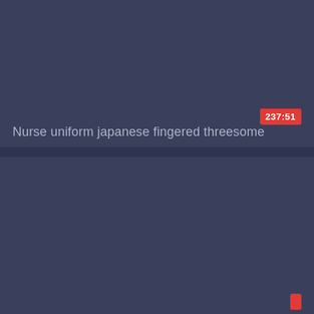[Figure (screenshot): Video thumbnail placeholder - dark navy/slate blue rectangle, top card]
237:51
Nurse uniform japanese fingered threesome
[Figure (screenshot): Video thumbnail placeholder - dark navy/slate blue rectangle, bottom card]